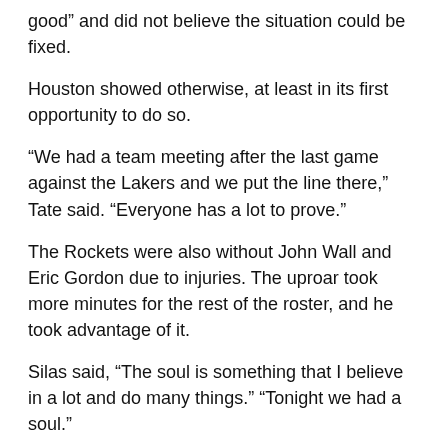good” and did not believe the situation could be fixed.
Houston showed otherwise, at least in its first opportunity to do so.
“We had a team meeting after the last game against the Lakers and we put the line there,” Tate said. “Everyone has a lot to prove.”
The Rockets were also without John Wall and Eric Gordon due to injuries. The uproar took more minutes for the rest of the roster, and he took advantage of it.
Silas said, “The soul is something that I believe in a lot and do many things.” “Tonight we had a soul.”
Seven players scored at least nine points, with Mason Jones scoring nine points in a career.
The Rockets scored 15–1 with 1:46 to go to lead 105–101.